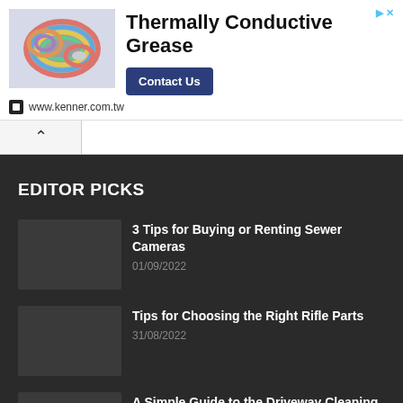[Figure (photo): Advertisement banner for Thermally Conductive Grease by kenner.com.tw, showing colorful rolls of tape/material, with a Contact Us button]
EDITOR PICKS
3 Tips for Buying or Renting Sewer Cameras
01/09/2022
Tips for Choosing the Right Rifle Parts
31/08/2022
A Simple Guide to the Driveway Cleaning Process